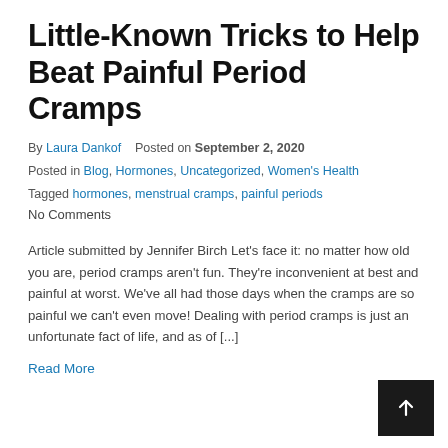Little-Known Tricks to Help Beat Painful Period Cramps
By Laura Dankof    Posted on September 2, 2020
Posted in Blog, Hormones, Uncategorized, Women's Health
Tagged hormones, menstrual cramps, painful periods
No Comments
Article submitted by Jennifer Birch Let's face it: no matter how old you are, period cramps aren't fun. They're inconvenient at best and painful at worst. We've all had those days when the cramps are so painful we can't even move! Dealing with period cramps is just an unfortunate fact of life, and as of [...]
Read More